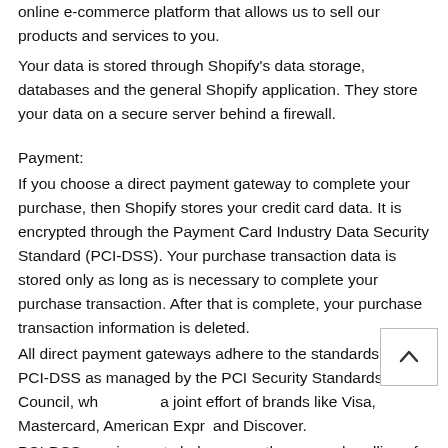online e-commerce platform that allows us to sell our products and services to you.
Your data is stored through Shopify's data storage, databases and the general Shopify application. They store your data on a secure server behind a firewall.
Payment:
If you choose a direct payment gateway to complete your purchase, then Shopify stores your credit card data. It is encrypted through the Payment Card Industry Data Security Standard (PCI-DSS). Your purchase transaction data is stored only as long as is necessary to complete your purchase transaction. After that is complete, your purchase transaction information is deleted.
All direct payment gateways adhere to the standards set by PCI-DSS as managed by the PCI Security Standards Council, which is a joint effort of brands like Visa, Mastercard, American Express and Discover.
PCI-DSS requirements help ensure the secure handling of credit